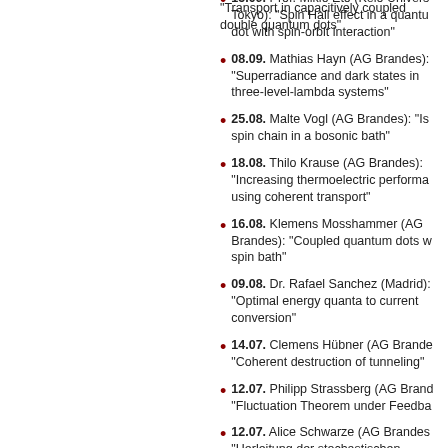15.09. Prof. Mikio Eto (Keio University, Tokyo): "Spin Hall effect in a quantum dot with spin-orbit interaction"
08.09. Mathias Hayn (AG Brandes): "Superradiance and dark states in three-level-lambda systems"
25.08. Malte Vogl (AG Brandes): "Is spin chain in a bosonic bath"
18.08. Thilo Krause (AG Brandes): "Increasing thermoelectric performance using coherent transport"
16.08. Klemens Mosshammer (AG Brandes): "Coupled quantum dots with spin bath"
09.08. Dr. Rafael Sanchez (Madrid): "Optimal energy quanta to current conversion"
14.07. Clemens Hübner (AG Brandes): "Coherent destruction of tunneling"
12.07. Philipp Strassberg (AG Brandes): "Fluctuation Theorem under Feedback"
12.07. Alice Schwarze (AG Brandes): "Herleitung der stochastischen Mastergleichung"